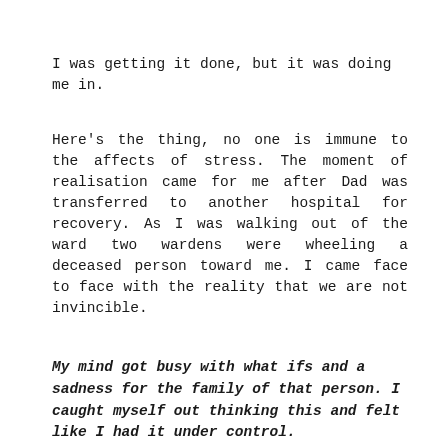I was getting it done, but it was doing me in.
Here's the thing, no one is immune to the affects of stress. The moment of realisation came for me after Dad was transferred to another hospital for recovery. As I was walking out of the ward two wardens were wheeling a deceased person toward me. I came face to face with the reality that we are not invincible.
My mind got busy with what ifs and a sadness for the family of that person. I caught myself out thinking this and felt like I had it under control.
But I didn't.